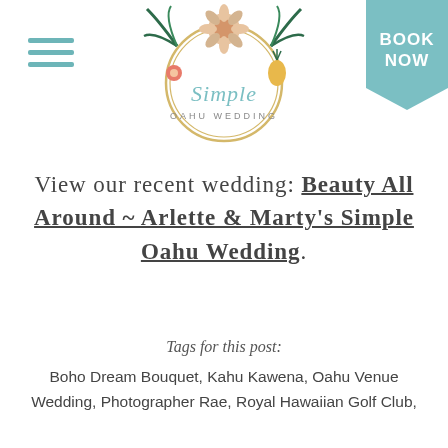[Figure (logo): Simple Oahu Wedding logo: circular gold ring with tropical floral arrangement (protea, palm leaves, pineapple) and cursive 'Simple' text with 'OAHU WEDDING' below]
BOOK NOW
View our recent wedding: Beauty All Around ~ Arlette & Marty's Simple Oahu Wedding.
Tags for this post:
Boho Dream Bouquet, Kahu Kawena, Oahu Venue Wedding, Photographer Rae, Royal Hawaiian Golf Club,